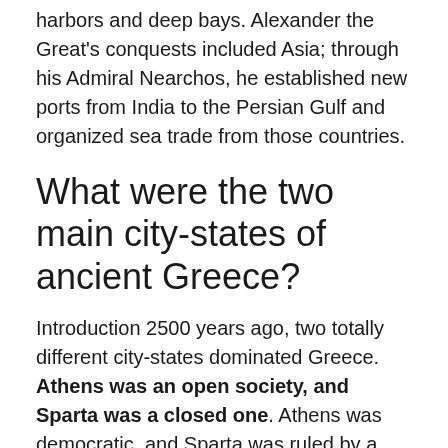harbors and deep bays. Alexander the Great's conquests included Asia; through his Admiral Nearchos, he established new ports from India to the Persian Gulf and organized sea trade from those countries.
What were the two main city-states of ancient Greece?
Introduction 2500 years ago, two totally different city-states dominated Greece. Athens was an open society, and Sparta was a closed one. Athens was democratic, and Sparta was ruled by a select few. The differences were many.